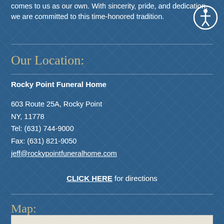comes to us as our own. With sincerity, pride, and dedication, we are committed to this time-honored tradition.
Our Location:
Rocky Point Funeral Home
603 Route 25A, Rocky Point
NY, 11778
Tel: (631) 744-9000
Fax: (631) 821-9050
jeff@rockypointfuneralhome.com
CLICK HERE for directions
Map:
[Figure (map): Partial map view showing bottom edge of page]